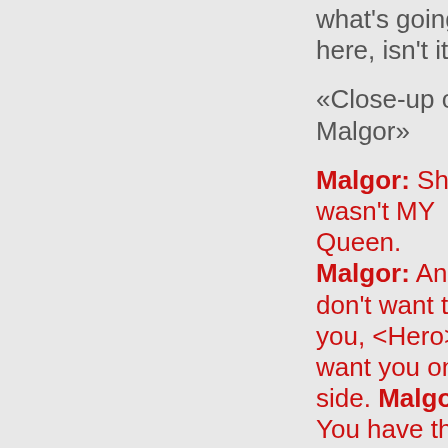what's going on here, isn't it?
«Close-up of Malgor»
Malgor: She wasn't MY Queen. Malgor: And I don't want to kill you, <Hero>. I want you on my side. Malgor: You have the potential to be my biggest threat… or to help me achieve everything I